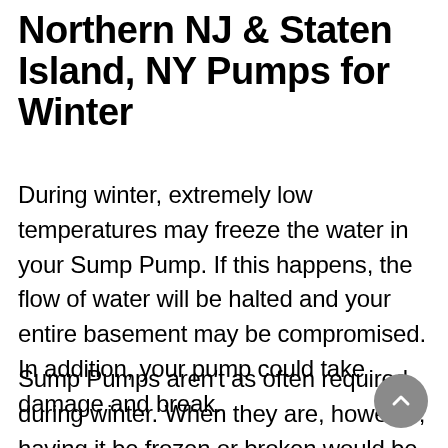Northern NJ & Staten Island, NY Pumps for Winter
During winter, extremely low temperatures may freeze the water in your Sump Pump. If this happens, the flow of water will be halted and your entire basement may be compromised. In addition, your pump could take damage and break.
Sump Pumps aren't as often required during winter. When they are, however, having it be frozen or broken would be a problem.